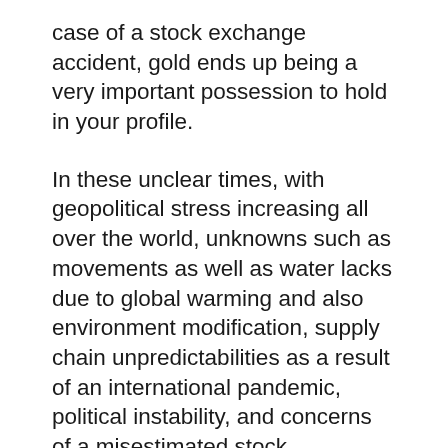case of a stock exchange accident, gold ends up being a very important possession to hold in your profile.
In these unclear times, with geopolitical stress increasing all over the world, unknowns such as movements as well as water lacks due to global warming and also environment modification, supply chain unpredictabilities as a result of an international pandemic, political instability, and concerns of a misestimated stock exchange, gold is just the very best to hedge versus all of these threats.
Contributing to today’s unpredictability, there are increasing fears among economic experts that the extremely uncertain and